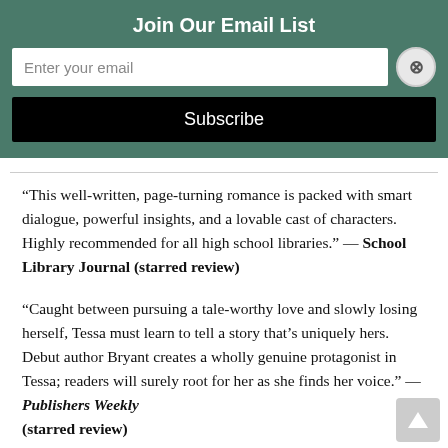Join Our Email List
[Figure (screenshot): Email subscription form with text input field placeholder 'Enter your email', a close (X) button, and a black Subscribe button]
“This well-written, page-turning romance is packed with smart dialogue, powerful insights, and a lovable cast of characters. Highly recommended for all high school libraries.” — School Library Journal (starred review)
“Caught between pursuing a tale-worthy love and slowly losing herself, Tessa must learn to tell a story that’s uniquely hers. Debut author Bryant creates a wholly genuine protagonist in Tessa; readers will surely root for her as she finds her voice.” — Publishers Weekly (starred review)